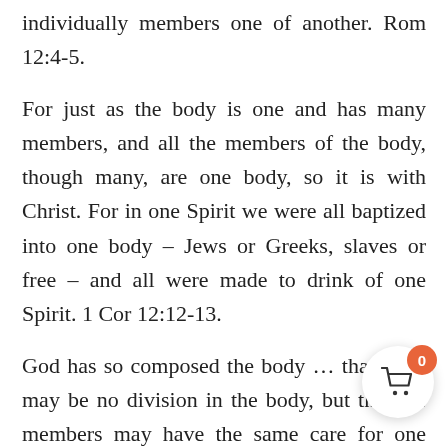individually members one of another. Rom 12:4-5.
For just as the body is one and has many members, and all the members of the body, though many, are one body, so it is with Christ. For in one Spirit we were all baptized into one body – Jews or Greeks, slaves or free – and all were made to drink of one Spirit. 1 Cor 12:12-13.
God has so composed the body … that there may be no division in the body, but that the members may have the same care for one another. 1 Cor 12:24-25.
There is one body and one Spirit – just as you were called to the one hope that